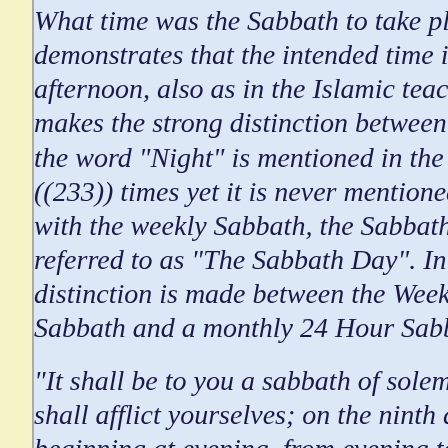What time was the Sabbath to take place demonstrates that the intended time is afternoon, also as in the Islamic teaching makes the strong distinction between the word "Night" is mentioned in the Jewish text ((233)) times yet it is never mentioned with the weekly Sabbath, the Sabbath is referred to as "The Sabbath Day". In fact distinction is made between the Weekly Sabbath and a monthly 24 Hour Sabbath
"It shall be to you a sabbath of solemn rest, and you shall afflict yourselves; on the ninth day of the month beginning at evening, from evening to morning, shall you keep your sabbath." Leviticus 23:32
Hence clarifying there are different types